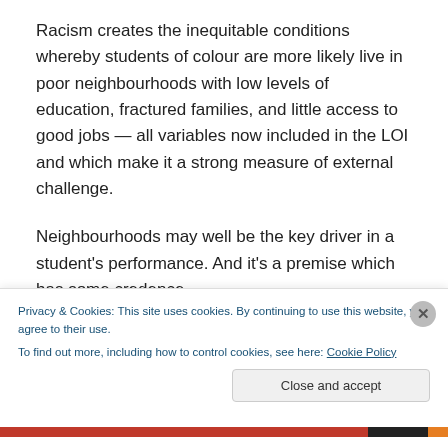Racism creates the inequitable conditions whereby students of colour are more likely live in poor neighbourhoods with low levels of education, fractured families, and little access to good jobs — all variables now included in the LOI and which make it a strong measure of external challenge.
Neighbourhoods may well be the key driver in a student's performance. And it's a premise which has some credence.
Privacy & Cookies: This site uses cookies. By continuing to use this website, you agree to their use.
To find out more, including how to control cookies, see here: Cookie Policy